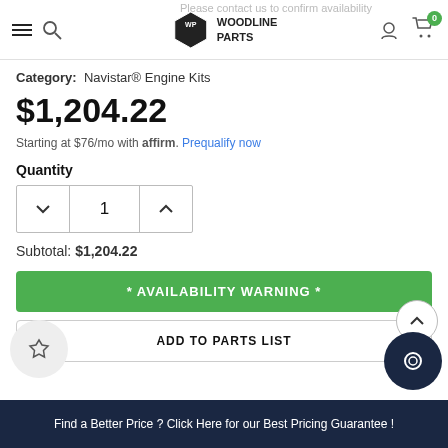Woodline Parts — Availability
Category: Navistar® Engine Kits
$1,204.22
Starting at $76/mo with affirm. Prequalify now
Quantity
1
Subtotal: $1,204.22
* AVAILABILITY WARNING *
ADD TO PARTS LIST
Find a Better Price ? Click Here for our Best Pricing Guarantee !